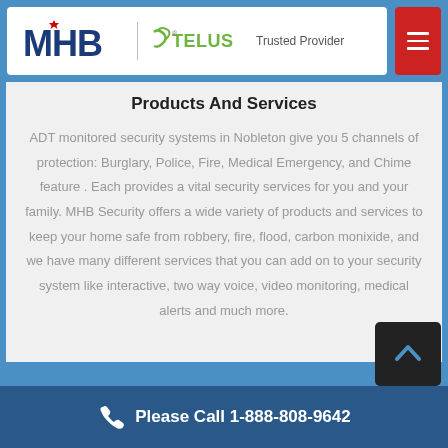MHB Security — TELUS Trusted Provider header with menu button
Products And Services
ADT monitored security systems in Nobleton give you 5 channels of protection: Burglary, Police, Fire, Medical Emergency, and Chime feature . Each provides a vital security services for you and your family. MHB Security offers a wide variety of products and services to keep your home safe from robbery, fire, flood, carbon monixide, and we have many different services that you can add on to your security system like interactive, two way voice, video monitoring, medical alerts and much more.
Please Call 1-888-808-9642